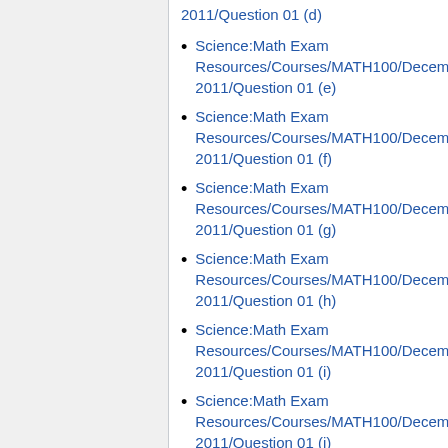Science:Math Exam Resources/Courses/MATH100/December 2011/Question 01 (d)
Science:Math Exam Resources/Courses/MATH100/December 2011/Question 01 (e)
Science:Math Exam Resources/Courses/MATH100/December 2011/Question 01 (f)
Science:Math Exam Resources/Courses/MATH100/December 2011/Question 01 (g)
Science:Math Exam Resources/Courses/MATH100/December 2011/Question 01 (h)
Science:Math Exam Resources/Courses/MATH100/December 2011/Question 01 (i)
Science:Math Exam Resources/Courses/MATH100/December 2011/Question 01 (j)
Science:Math Exam Resources/Courses/MATH100/December 2011/Question 01 (k)